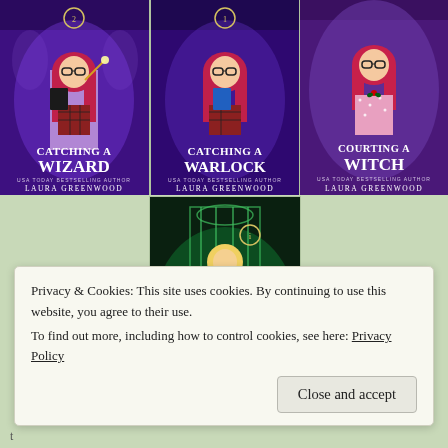[Figure (illustration): Book cover: 'Catching a Wizard' by Laura Greenwood. Shows a red-haired girl with glasses holding a wand and book, purple magical academy background.]
[Figure (illustration): Book cover: 'Catching a Warlock' by Laura Greenwood. Shows a red-haired girl with glasses holding a blue book, purple magical academy background.]
[Figure (illustration): Book cover: 'Courting a Witch' by Laura Greenwood. Shows a red-haired girl with glasses in a sparkly dress, purple background.]
[Figure (illustration): Book cover: 'Tiger' by Laura Greenwood. Shows a blonde girl in a white dress with a white tiger, green magical background with ornate gate.]
Privacy & Cookies: This site uses cookies. By continuing to use this website, you agree to their use.
To find out more, including how to control cookies, see here: Privacy Policy
Close and accept